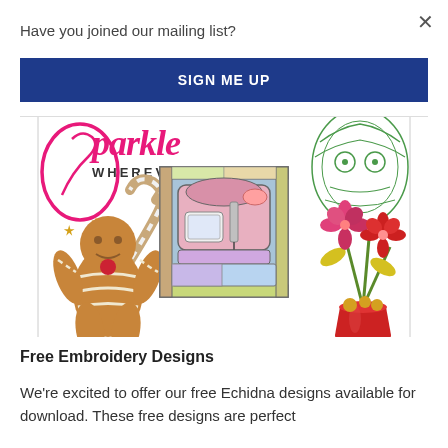Have you joined our mailing list?
SIGN ME UP
[Figure (illustration): Sparkle embroidery brand banner with logo text reading 'sparkle WHEREVER YOU GO' with decorative embroidery designs including a gingerbread man with candy canes, a stained glass sewing machine quilt square, pink flowers in a red pot, and a green owl sugar skull design]
Free Embroidery Designs
We're excited to offer our free Echidna designs available for download. These free designs are perfect